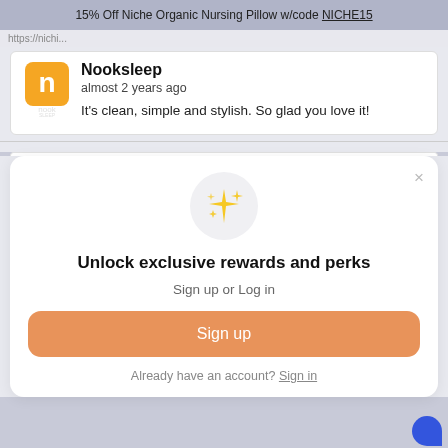15% Off Niche Organic Nursing Pillow w/code NICHE15
https://nichi...
Nooksleep
almost 2 years ago
It's clean, simple and stylish. So glad you love it!
[Figure (screenshot): Nook Sleep brand logo - orange square with rounded corners containing white 'n' icon and 'nook' wordmark below]
Unlock exclusive rewards and perks
Sign up or Log in
Sign up
Already have an account? Sign in